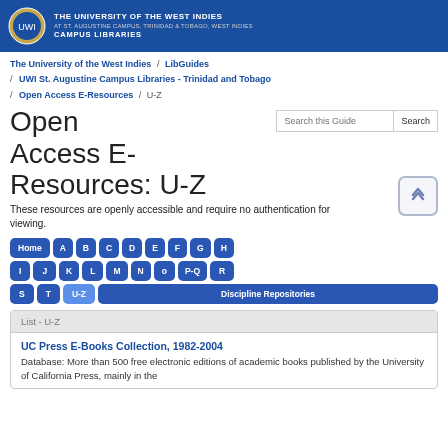THE UNIVERSITY OF THE WEST INDIES / AT ST. AUGUSTINE CAMPUS, TRINIDAD & TOBAGO, WEST INDIES / CAMPUS LIBRARIES
The University of the West Indies / LibGuides / UWI St. Augustine Campus Libraries - Trinidad and Tobago / Open Access E-Resources / U-Z
Open Access E-Resources: U-Z
These resources are openly accessible and require no authentication for viewing.
Home A B C D E F G H I J K L M N o P-Q R S T U-Z Discipline Repositories
List - U-Z
UC Press E-Books Collection, 1982-2004
Database: More than 500 free electronic editions of academic books published by the University of California Press, mainly in the